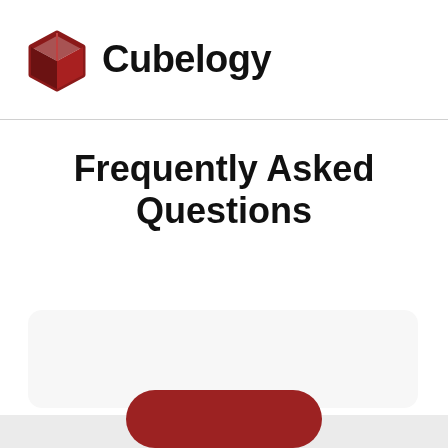Cubelogy
Frequently Asked Questions
[Figure (other): Empty white rounded card/box placeholder]
[Figure (other): Dark red pill-shaped button at bottom of page]